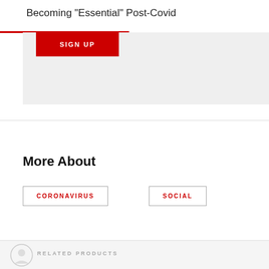Becoming "Essential" Post-Covid
[Figure (other): Red sign up button on a light grey background section]
More About
CORONAVIRUS
SOCIAL
RELATED PRODUCTS